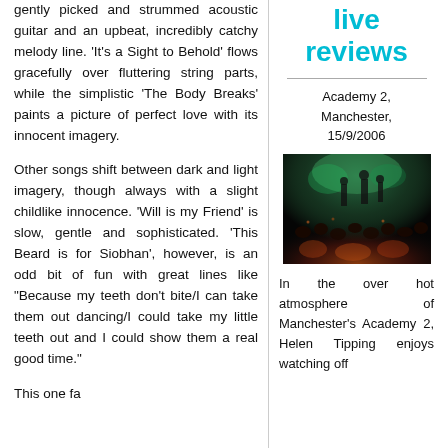gently picked and strummed acoustic guitar and an upbeat, incredibly catchy melody line. 'It's a Sight to Behold' flows gracefully over fluttering string parts, while the simplistic 'The Body Breaks' paints a picture of perfect love with its innocent imagery.
Other songs shift between dark and light imagery, though always with a slight childlike innocence. 'Will is my Friend' is slow, gentle and sophisticated. 'This Beard is for Siobhan', however, is an odd bit of fun with great lines like "Because my teeth don't bite/I can take them out dancing/I could take my little teeth out and I could show them a real good time."
This one fa...
live reviews
Academy 2, Manchester, 15/9/2006
[Figure (photo): Concert venue photo showing performers on stage with green/teal lighting and orange-lit crowd in a dark venue]
In the over hot atmosphere of Manchester's Academy 2, Helen Tipping enjoys watching off